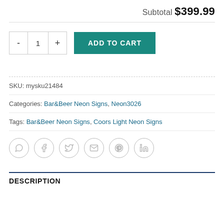Subtotal $399.99
- 1 + ADD TO CART
SKU: mysku21484
Categories: Bar&Beer Neon Signs, Neon3026
Tags: Bar&Beer Neon Signs, Coors Light Neon Signs
[Figure (other): Row of six social share icons (WhatsApp, Facebook, Twitter, Email, Pinterest, LinkedIn) as outlined circles]
DESCRIPTION